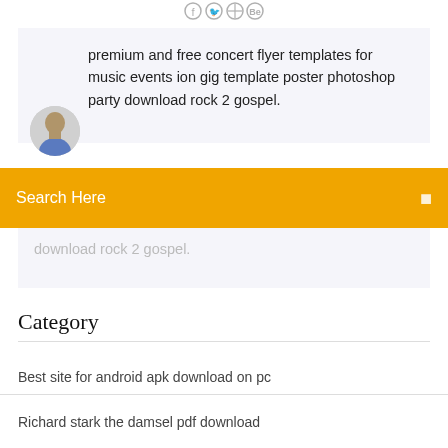[Figure (illustration): Social media icons row at top: Facebook, Twitter, a circle icon, and Behance]
premium and free concert flyer templates for music events ion gig template poster photoshop party download rock 2 gospel.
[Figure (photo): Partial avatar/headshot of a person in the lower-left of the card]
Search Here
download rock 2 gospel.
Category
Best site for android apk download on pc
Richard stark the damsel pdf download